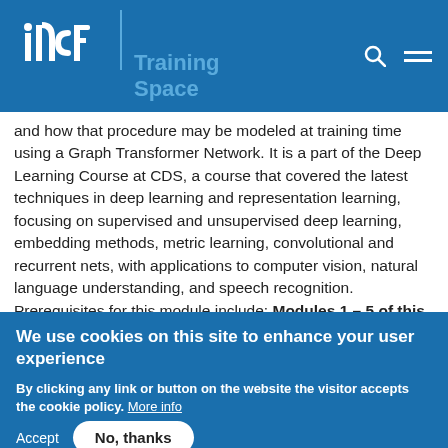incf | Training Space
and how that procedure may be modeled at training time using a Graph Transformer Network. It is a part of the Deep Learning Course at CDS, a course that covered the latest techniques in deep learning and representation learning, focusing on supervised and unsupervised deep learning, embedding methods, metric learning, convolutional and recurrent nets, with applications to computer vision, natural language understanding, and speech recognition. Prerequisites for this module include: Modules 1 – 5 of this course and Introduction to Data Science or a
We use cookies on this site to enhance your user experience
By clicking any link or button on the website the visitor accepts the cookie policy. More info
Accept
No, thanks